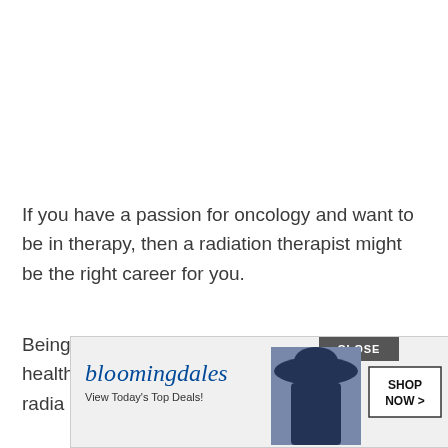If you have a passion for oncology and want to be in therapy, then a radiation therapist might be the right career for you.
Being able to properly operate and maintain a healthy environment while patients ta[ke] radia[tion therapy]...
[Figure (other): Bloomingdale's advertisement banner with logo, woman in wide-brim hat, and 'SHOP NOW >' button. Overlaid with a 'CLOSE' button in dark grey.]